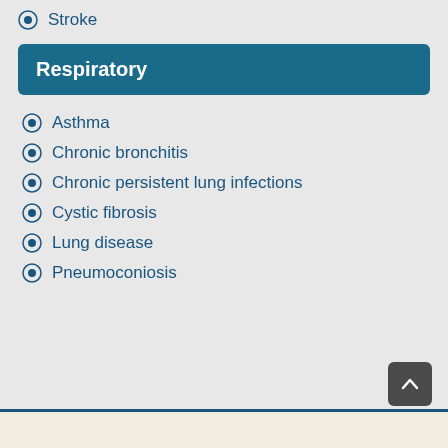Stroke
Respiratory
Asthma
Chronic bronchitis
Chronic persistent lung infections
Cystic fibrosis
Lung disease
Pneumoconiosis